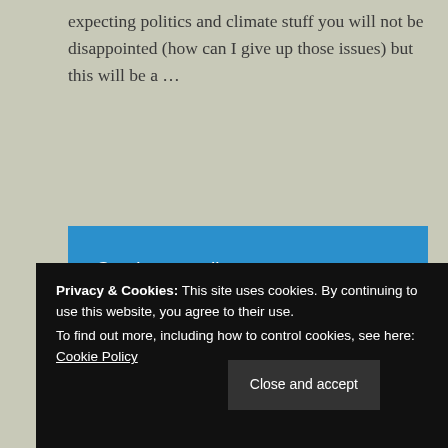expecting politics and climate stuff you will not be disappointed (how can I give up those issues) but this will be a …
Continue reading
Jean   Uncategorised   1 Comment   31st Dec 2021   3 Minutes
Privacy & Cookies: This site uses cookies. By continuing to use this website, you agree to their use.
To find out more, including how to control cookies, see here: Cookie Policy
Close and accept
watching some glorious tennis. In the women's singles I